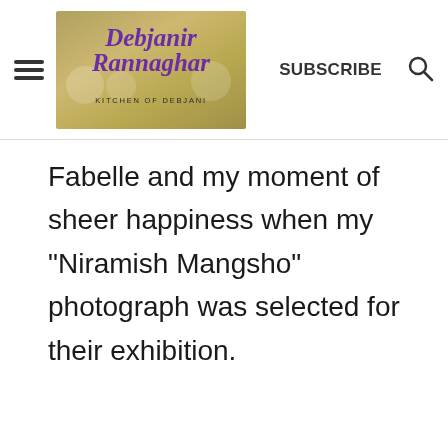Debjanir Rannaghar KITCHEN OF DEBJANI | SUBSCRIBE
Fabelle and my moment of sheer happiness when my "Niramish Mangsho" photograph was selected for their exhibition.